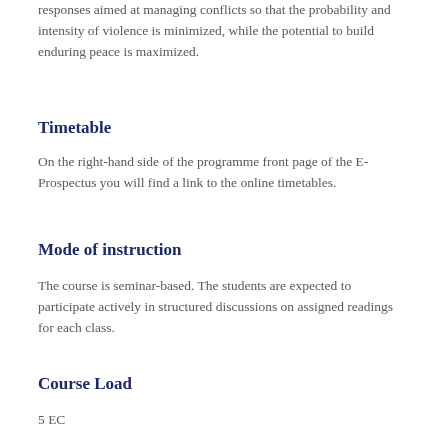responses aimed at managing conflicts so that the probability and intensity of violence is minimized, while the potential to build enduring peace is maximized.
Timetable
On the right-hand side of the programme front page of the E-Prospectus you will find a link to the online timetables.
Mode of instruction
The course is seminar-based. The students are expected to participate actively in structured discussions on assigned readings for each class.
Course Load
5 EC